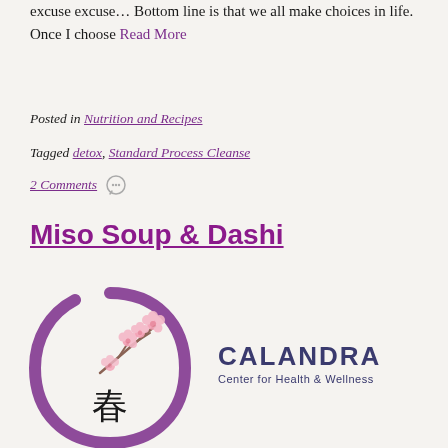excuse excuse… Bottom line is that we all make choices in life. Once I choose Read More
Posted in Nutrition and Recipes
Tagged detox, Standard Process Cleanse
2 Comments
Miso Soup & Dashi
[Figure (logo): Calandra Center for Health & Wellness logo featuring a purple enso circle with cherry blossoms and the kanji character for spring, alongside the text CALANDRA Center for Health & Wellness]